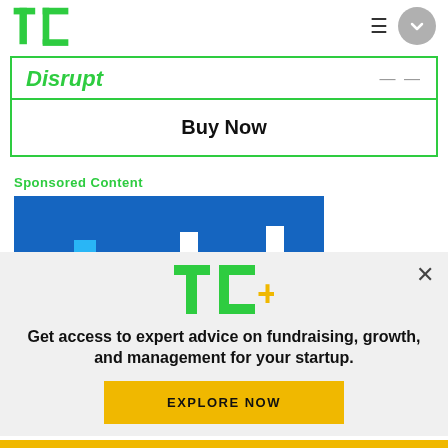[Figure (logo): TechCrunch TC logo in green, top left navigation bar]
Disrupt
Buy Now
Sponsored Content
[Figure (logo): Intel logo on blue background banner]
[Figure (logo): TC+ logo in green and orange]
Get access to expert advice on fundraising, growth, and management for your startup.
EXPLORE NOW